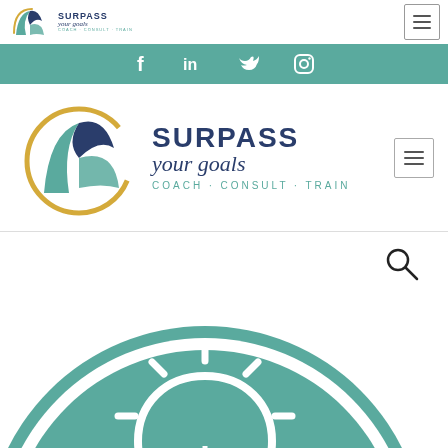[Figure (logo): Surpass Your Goals logo small in header - teal/navy mountain/leaf shape with SURPASS your goals COACH · CONSULT · TRAIN text]
[Figure (screenshot): Hamburger menu icon top right]
[Figure (infographic): Teal social media bar with Facebook, LinkedIn, Twitter, Instagram icons]
[Figure (logo): Large Surpass Your Goals logo - circular teal/navy mountain icon with SURPASS your goals COACH · CONSULT · TRAIN]
[Figure (screenshot): Hamburger menu icon in main header right]
[Figure (illustration): Large teal circle with white outlined lightbulb icon with radiating lines, partially cropped at bottom of page]